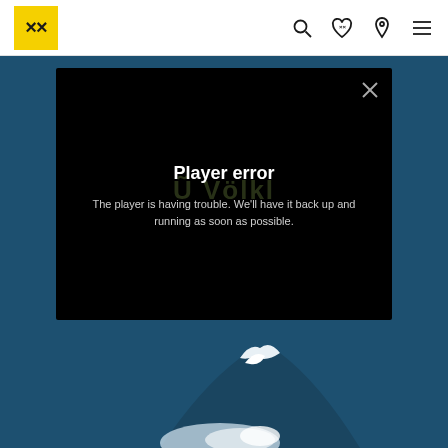Völkl website header with logo and navigation icons
[Figure (screenshot): Video player error overlay on a dark background showing 'Player error' title and error message over a teal/blue ski scene background with mountain snow visible at bottom]
Player error
The player is having trouble. We'll have it back up and running as soon as possible.